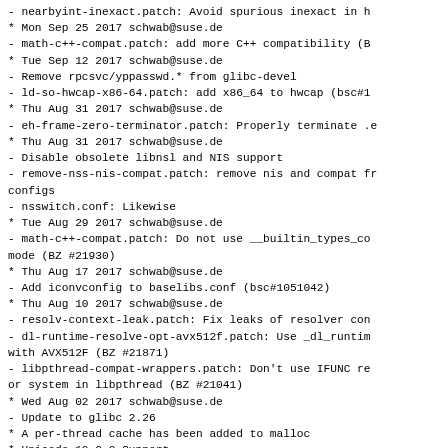- nearbyint-inexact.patch: Avoid spurious inexact in n
* Mon Sep 25 2017 schwab@suse.de
  - math-c++-compat.patch: add more C++ compatibility (B
* Tue Sep 12 2017 schwab@suse.de
  - Remove rpcsvc/yppasswd.* from glibc-devel
  - ld-so-hwcap-x86-64.patch: add x86_64 to hwcap (bsc#1
* Thu Aug 31 2017 schwab@suse.de
  - eh-frame-zero-terminator.patch: Properly terminate .e
* Thu Aug 31 2017 schwab@suse.de
  - Disable obsolete libnsl and NIS support
  - remove-nss-nis-compat.patch: remove nis and compat fr
    configs
  - nsswitch.conf: Likewise
* Tue Aug 29 2017 schwab@suse.de
  - math-c++-compat.patch: Do not use __builtin_types_co
    mode (BZ #21930)
* Thu Aug 17 2017 schwab@suse.de
  - Add iconvconfig to baselibs.conf (bsc#1051042)
* Thu Aug 10 2017 schwab@suse.de
  - resolv-context-leak.patch: Fix leaks of resolver con
  - dl-runtime-resolve-opt-avx512f.patch: Use _dl_runtim
    with AVX512F (BZ #21871)
  - libpthread-compat-wrappers.patch: Don't use IFUNC re
    or system in libpthread (BZ #21041)
* Wed Aug 02 2017 schwab@suse.de
  - Update to glibc 2.26
    * A per-thread cache has been added to malloc
    * Unicode 10.0.0 Support
    * Improvements to the DNS stub resolver
    * New function reallocarray, which resizes an alloca